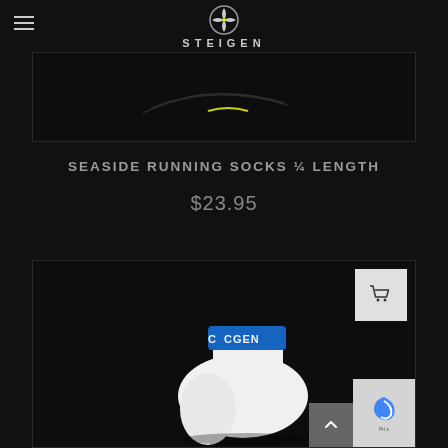STEIGEN
[Figure (photo): Dark product image area at top, partially showing a running-related image with dark background]
SEASIDE RUNNING SOCKS ¼ LENGTH
$23.95
[Figure (photo): White Steigen running sock with blue STEIGEN brand text on the ankle cuff, shown against black background, with a shopping cart button overlay in top right and reCAPTCHA badge and scroll-to-top button in bottom right]